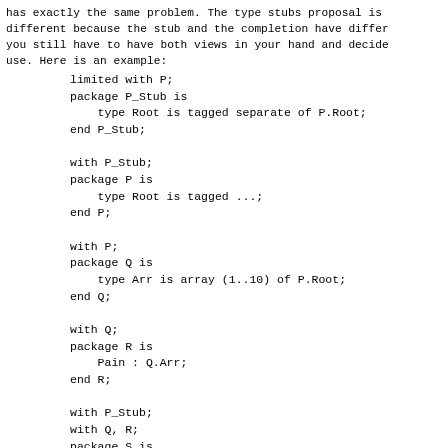has exactly the same problem.  The type stubs proposal is different because the stub and the completion have differ you still have to have both views in your hand and decide use.  Here is an example:
limited with P;
package P_Stub is
    type Root is tagged separate of P.Root;
end P_Stub;

with P_Stub;
package P is
    type Root is tagged ...;
end P;

with P;
package Q is
    type Arr is array (1..10) of P.Root;
end Q;

with Q;
package R is
    Pain : Q.Arr;
end R;

with P_Stub;
with Q, R;
package S is
    X : P_Stub.Root; -- Illegal, completion not a
    Y : Boolean := Q.Arr (1) = Q.Arr (2); -- Lega
end S;